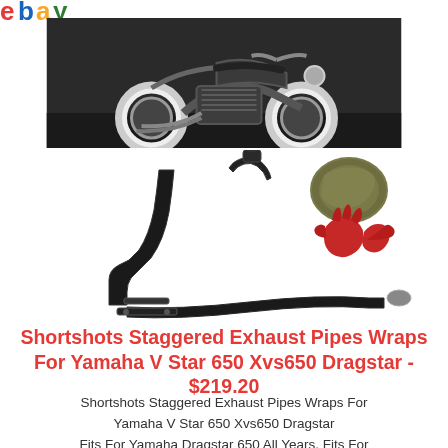[Figure (logo): Partial eBay logo, red and green colored text visible at top left]
[Figure (photo): Motorcycle (cruiser/bobber style with whitewall tires) product photo from above, dark background]
[Figure (photo): Product parts photo: two black curved exhaust pipes, mounting brackets, wrapping cloth, and red gloves on white background]
Shortshots Staggered Exhaust Pipes Wraps For Yamaha V Star 650 Xvs650 Dragstar - $219.20
Shortshots Staggered Exhaust Pipes Wraps For Yamaha V Star 650 Xvs650 Dragstar
Fits For Yamaha Dragstar 650 All Years. Fits For